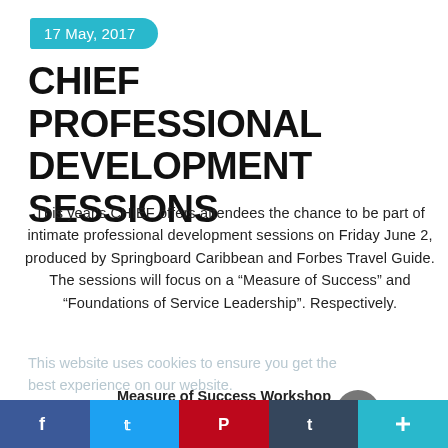17 May, 2017
CHIEF PROFESSIONAL DEVELOPMENT SESSIONS
This year's CHIEF offers attendees the chance to be part of intimate professional development sessions on Friday June 2, produced by Springboard Caribbean and Forbes Travel Guide. The sessions will focus on a "Measure of Success" and "Foundations of Service Leadership". Respectively.
This website uses cookies to ensure you get the best experience on our website.
Learn more
Measure of Success Workshop
Endorsed by the Institute of Hospitality (IoH),
[Figure (logo): Springboard Caribbean logo]